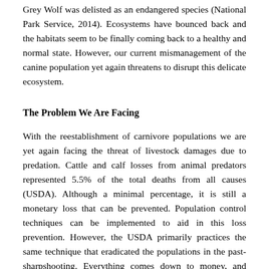Grey Wolf was delisted as an endangered species (National Park Service, 2014). Ecosystems have bounced back and the habitats seem to be finally coming back to a healthy and normal state. However, our current mismanagement of the canine population yet again threatens to disrupt this delicate ecosystem.
The Problem We Are Facing
With the reestablishment of carnivore populations we are yet again facing the threat of livestock damages due to predation. Cattle and calf losses from animal predators represented 5.5% of the total deaths from all causes (USDA). Although a minimal percentage, it is still a monetary loss that can be prevented. Population control techniques can be implemented to aid in this loss prevention. However, the USDA primarily practices the same technique that eradicated the populations in the past- sharpshooting. Everything comes down to money, and taxpayers are paying 40-50% of the costs to aerially sharp shoot coyotes and wolves (Wetzler 2013). It costs $865/hr for the use of a